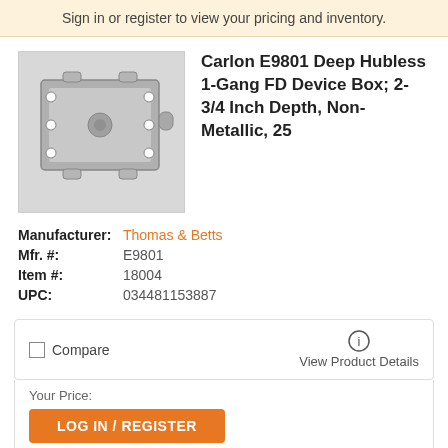Sign in or register to view your pricing and inventory.
[Figure (photo): Photo of Carlon E9801 Deep Hubless 1-Gang FD Device Box, gray non-metallic electrical box with mounting holes]
Carlon E9801 Deep Hubless 1-Gang FD Device Box; 2-3/4 Inch Depth, Non-Metallic, 25
Manufacturer: Thomas & Betts
Mfr. #: E9801
Item #: 18004
UPC: 034481153887
Compare
View Product Details
Your Price:
LOG IN / REGISTER